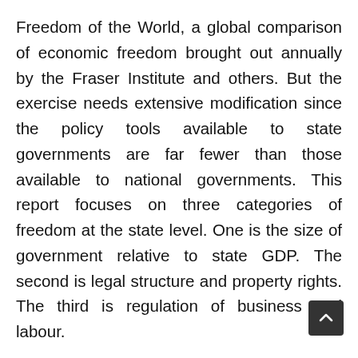Freedom of the World, a global comparison of economic freedom brought out annually by the Fraser Institute and others. But the exercise needs extensive modification since the policy tools available to state governments are far fewer than those available to national governments. This report focuses on three categories of freedom at the state level. One is the size of government relative to state GDP. The second is legal structure and property rights. The third is regulation of business and labour.

There are problems in locating data across all states that will help measure these three parameters. Even if better data were